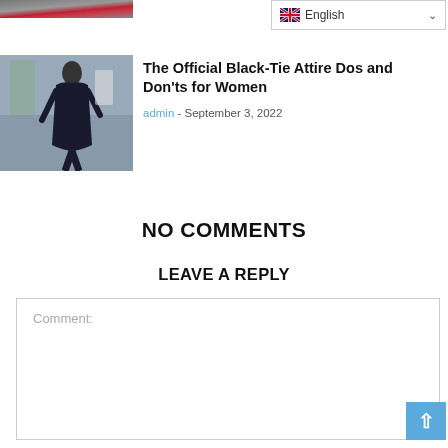[Figure (photo): Partial image strip at top left, cropped photo]
[Figure (screenshot): Language selector dropdown showing English with UK flag]
[Figure (photo): Thumbnail photo of a woman in a black dress standing outdoors]
The Official Black-Tie Attire Dos and Don'ts for Women
admin - September 3, 2022
NO COMMENTS
LEAVE A REPLY
Comment: